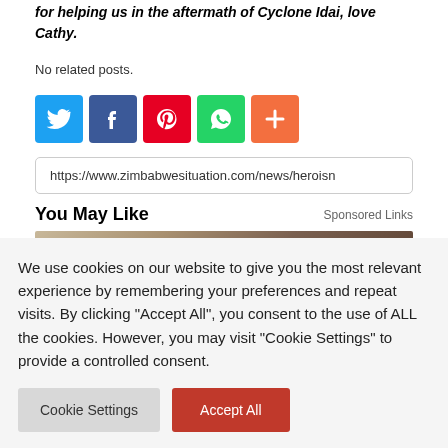for helping us in the aftermath of Cyclone Idai, love Cathy.
No related posts.
[Figure (other): Social sharing icons: Twitter (blue), Facebook (dark blue), Pinterest (red), WhatsApp (green), More/Plus (orange)]
https://www.zimbabwesituation.com/news/heroisn
You May Like
Sponsored Links
[Figure (photo): Preview image showing a hat or sandal on a sandy/rocky surface]
We use cookies on our website to give you the most relevant experience by remembering your preferences and repeat visits. By clicking "Accept All", you consent to the use of ALL the cookies. However, you may visit "Cookie Settings" to provide a controlled consent.
Cookie Settings
Accept All